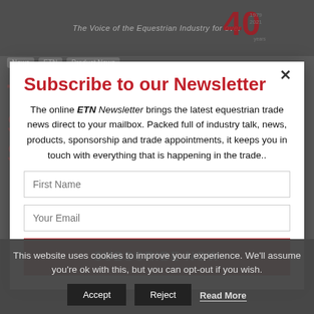The Voice of the Equestrian Industry for over 40 Years
News
ETN
Product News
TAKE FOOTWEAR SALES IN YOUR STRIDE
Subscribe to our Newsletter
The online ETN Newsletter brings the latest equestrian trade news direct to your mailbox. Packed full of industry talk, news, products, sponsorship and trade appointments, it keeps you in touch with everything that is happening in the trade..
First Name
Your Email
SUBSCRIBE NOW
This website uses cookies to improve your experience. We'll assume you're ok with this, but you can opt-out if you wish.
Accept
Reject
Read More